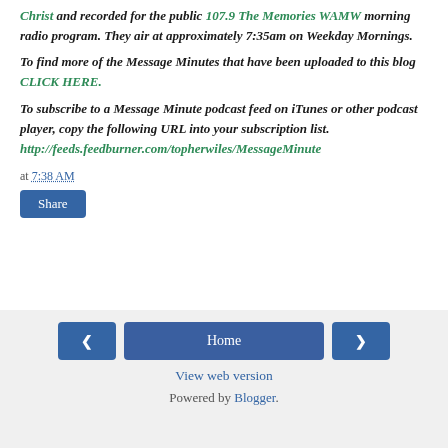Christ and recorded for the public 107.9 The Memories WAMW morning radio program.  They air at approximately 7:35am on Weekday Mornings.
To find more of the Message Minutes that have been uploaded to this blog CLICK HERE.
To subscribe to a Message Minute podcast feed on iTunes or other podcast player, copy the following URL into your subscription list. http://feeds.feedburner.com/topherwiles/MessageMinute
at 7:38 AM
Share
Home | View web version | Powered by Blogger.